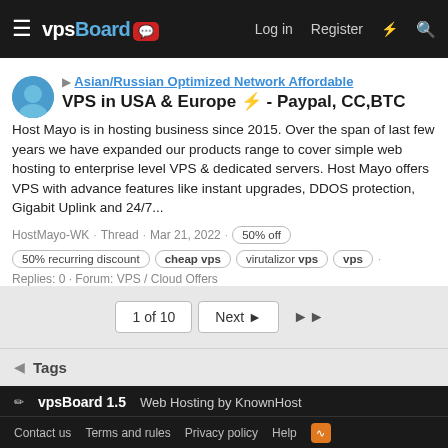vpsBoard — Log in · Register
Asian/Russian Optimized Network Affordable VPS in USA & Europe ⚡ - Paypal, CC,BTC
Host Mayo is in hosting business since 2015. Over the span of last few years we have expanded our products range to cover simple web hosting to enterprise level VPS & dedicated servers. Host Mayo offers VPS with advance features like instant upgrades, DDOS protection, Gigabit Uplink and 24/7...
HostMayo-WK · Thread · Mar 21, 2022 · 50% off
50% recurring discount · cheap vps · virutalizor vps · vps
Replies: 0 · Forum: VPS / Cloud Offers
1 of 10   Next ▶   ▶▶
Tags
vpsBoard 1.5   Web Hosting by KnownHost
Contact us · Terms and rules · Privacy policy · Help
Community platform by XenForo® © 2010-2021 XenForo Ltd.